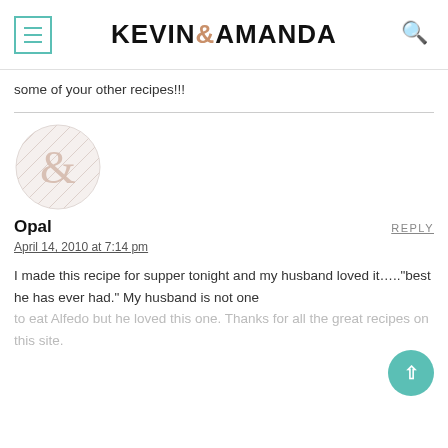KEVIN & AMANDA
some of your other recipes!!!
[Figure (illustration): Generic avatar placeholder with ampersand symbol in a circle with diagonal line pattern]
Opal
REPLY
April 14, 2010 at 7:14 pm
I made this recipe for supper tonight and my husband loved it…..“best he has ever had.” My husband is not one to eat Alfedo but he loved this one. Thanks for all the great recipes on this site.